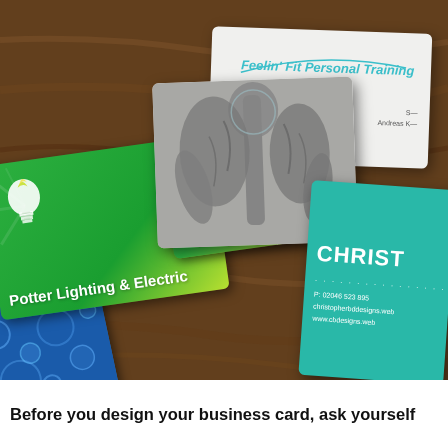[Figure (photo): Photograph showing multiple business cards fanned out on a wooden table. Cards include: a green card for 'Potter Lighting & Electric' with a light bulb logo, a white card for 'Feelin Fit Personal Training' with teal arc and italic text, a grey card with an anatomy/muscle illustration, a teal card with 'CHRIST' visible (Christopher) and contact details, and a blue card with bubble design.]
Before you design your business card, ask yourself